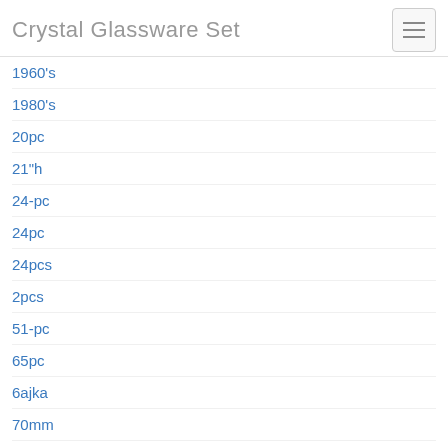Crystal Glassware Set
1960's
1980's
20pc
21"h
24-pc
24pc
24pcs
2pcs
51-pc
65pc
6ajka
70mm